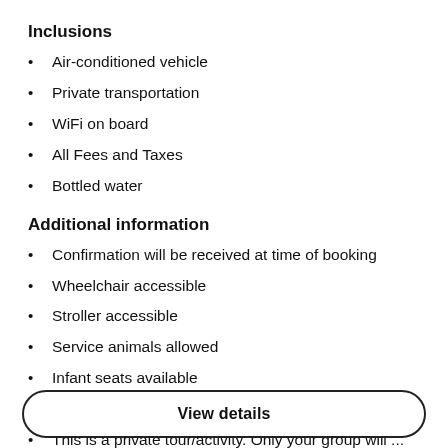Inclusions
Air-conditioned vehicle
Private transportation
WiFi on board
All Fees and Taxes
Bottled water
Additional information
Confirmation will be received at time of booking
Wheelchair accessible
Stroller accessible
Service animals allowed
Infant seats available
Most travelers can participate
This is a private tour/activity. Only your group will ...
View details